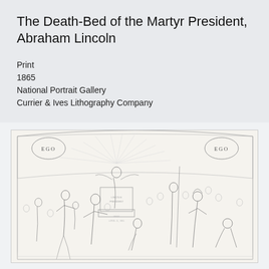The Death-Bed of the Martyr President, Abraham Lincoln
Print
1865
National Portrait Gallery
Currier & Ives Lithography Company
[Figure (illustration): A detailed lithograph illustration depicting an allegorical scene around the death bed of Abraham Lincoln, with multiple figures including angels, symbolic personages, and mourners. The word EGO appears in oval cartouches in the upper left and upper right corners. The scene includes figures in classical robes, a radiant angel atop a pedestal, and a diverse crowd of onlookers including soldiers and allegorical representations of Liberty and other virtues.]